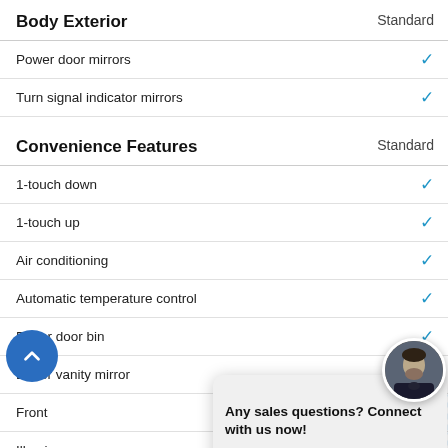Body Exterior — Standard
Power door mirrors ✓
Turn signal indicator mirrors ✓
Convenience Features — Standard
1-touch down ✓
1-touch up ✓
Air conditioning ✓
Automatic temperature control ✓
Driver door bin ✓
Driver vanity mirror ✓
Front [partially obscured] ✓
Illumi [partially obscured] ✓
Overh [partially obscured] ✓
Passe [partially obscured] ✓
Passe [partially obscured] ✓
Power moonroof ✓
Power windows ✓
Rear beverage holders ✓
[Figure (infographic): Chat popup overlay with agent avatar, TEXT and CHAT buttons, and message 'Any sales questions? Connect with us now!']